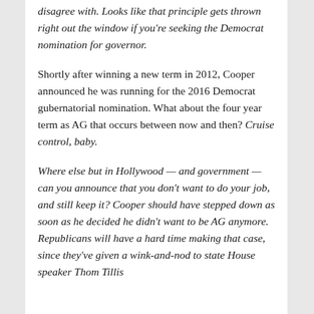disagree with. Looks like that principle gets thrown right out the window if you're seeking the Democrat nomination for governor.
Shortly after winning a new term in 2012, Cooper announced he was running for the 2016 Democrat gubernatorial nomination. What about the four year term as AG that occurs between now and then? Cruise control, baby.
Where else but in Hollywood — and government — can you announce that you don't want to do your job, and still keep it? Cooper should have stepped down as soon as he decided he didn't want to be AG anymore. Republicans will have a hard time making that case, since they've given a wink-and-nod to state House speaker Thom Tillis